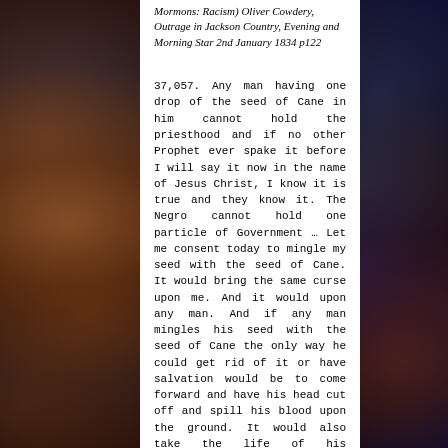Mormons: Racism) Oliver Cowdery, Outrage in Jackson Country, Evening and Morning Star 2nd January 1834 p122
37,057.  Any man having one drop of the seed of Cane in him cannot hold the priesthood and if no other Prophet ever spake it before I will say it now in the name of Jesus Christ, I know it is true and they know it.  The Negro cannot hold one particle of Government … Let me consent today to mingle my seed with the seed of Cane.  It would bring the same curse upon me.  And it would upon any man.  And if any man mingles his seed with the seed of Cane the only way he could get rid of it or have salvation would be to come forward and have his head cut off and spill his blood upon the ground.  It would also take the life of his children.  (Mormons & Mormons: Racism &